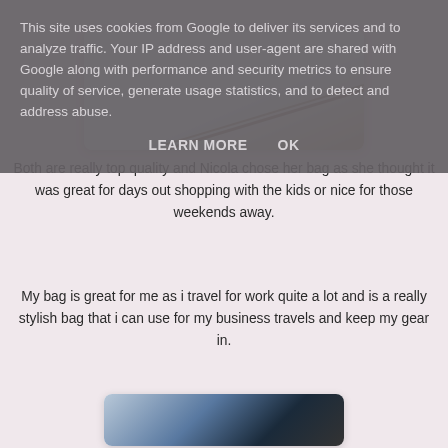[Figure (photo): Partial view of a bag or luggage item against a light background, visible at top of page behind cookie banner]
This site uses cookies from Google to deliver its services and to analyze traffic. Your IP address and user-agent are shared with Google along with performance and security metrics to ensure quality of service, generate usage statistics, and to detect and address abuse.
LEARN MORE    OK
Both are really top quality and Nicola chose her bag as she thought it was great for days out shopping with the kids or nice for those weekends away.
My bag is great for me as i travel for work quite a lot and is a really stylish bag that i can use for my business travels and keep my gear in.
[Figure (photo): Photo of a dark bag against a stone/brick wall background]